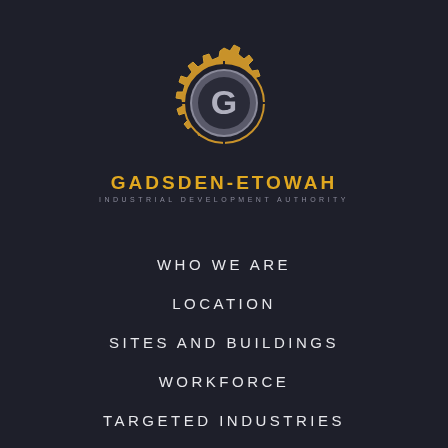[Figure (logo): Gadsden-Etowah Industrial Development Authority gear logo with letter G in center circle]
GADSDEN-ETOWAH
INDUSTRIAL DEVELOPMENT AUTHORITY
WHO WE ARE
LOCATION
SITES AND BUILDINGS
WORKFORCE
TARGETED INDUSTRIES
QUALITY OF LIFE
CONTACT